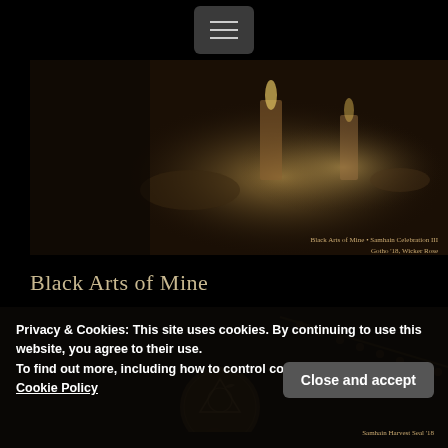[Figure (screenshot): Navigation hamburger menu button on dark background]
[Figure (photo): Dark sepia-toned photo of candles and altar items on a table]
Black Arts of Mine • Samhain Celebration III
Gotho '18, Wicker Rose
Black Arts of Mine
[Figure (photo): Dark close-up photo of a rosary/beads and a bronze coin medallion with occult symbols on dark fabric]
Privacy & Cookies: This site uses cookies. By continuing to use this website, you agree to their use.
To find out more, including how to control cookies, see here:
Cookie Policy
Close and accept
Samhain Harvest Seal '18